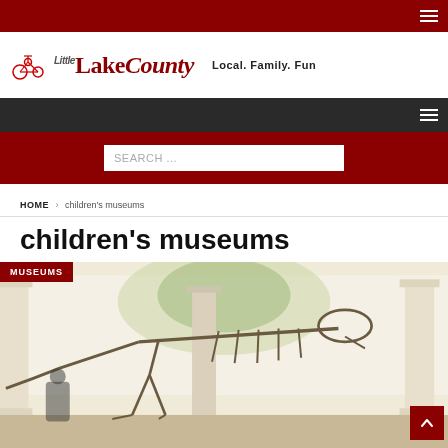Little Lake County – Local. Family. Fun
SEARCH ...
HOME > children's museums
children's museums
[Figure (photo): Museum interior with dinosaur skeleton on display, white classical columns, and a dinosaur mural in the background. Red 'MUSEUMS' tag overlay in top left corner.]